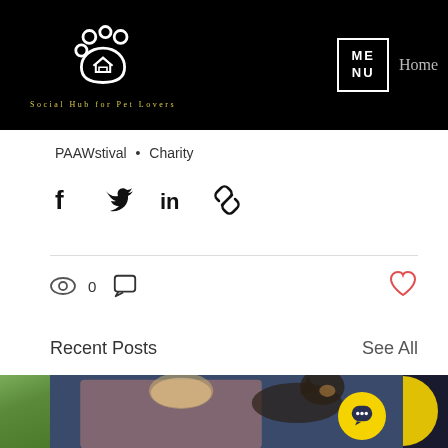[Figure (logo): PAAAWstival logo with paw print and house icon, tagline 'Social Hub for Pet Lovers']
MENU | Home
PAAWstival • Charity
[Figure (infographic): Social share icons: Facebook, Twitter, LinkedIn, link]
[Figure (infographic): Stats row: eye/view icon with count 0, comment bubble icon, heart/like icon (red outline)]
Recent Posts
See All
[Figure (photo): Recent posts thumbnails: green outdoor scene, woman with blonde hair in pink top smiling with a black dog against dark blue background, partial yellow circular image on right]